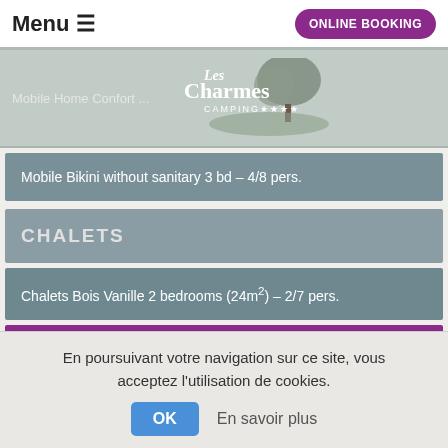Menu ≡  |  ONLINE BOOKING
[Figure (logo): Les Charmes Camping logo with tree illustration]
Mobile Home Confort ...
Mobile Bikini without sanitary 3 bd – 4/8 pers.
CHALETS
Chalets Bois Vanille 2 bedrooms (24m²) – 2/7 pers.
Chalet Bois Canelle 3 bedrooms (32m²) – 4/8 pers.
En poursuivant votre navigation sur ce site, vous acceptez l'utilisation de cookies.
OK   En savoir plus